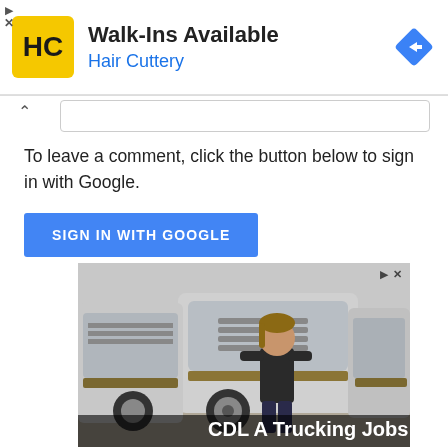[Figure (screenshot): Hair Cuttery advertisement banner with yellow/black HC logo, text 'Walk-Ins Available' and 'Hair Cuttery' in blue, and a blue diamond navigation arrow icon on the right]
To leave a comment, click the button below to sign in with Google.
[Figure (other): SIGN IN WITH GOOGLE blue button]
[Figure (photo): Advertisement showing a person standing in front of a row of white semi-trucks with gold stripes, with text 'CDL A Trucking Jobs' at the bottom]